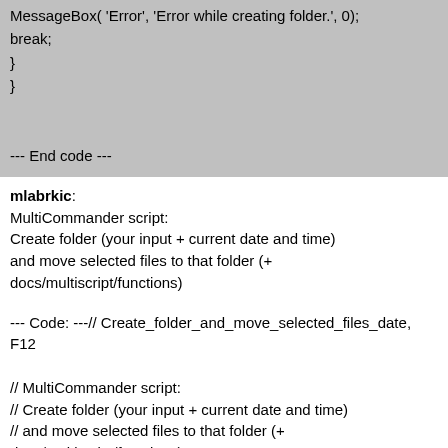MessageBox( 'Error', 'Error while creating folder.', 0);
break;
}
}

--- End code ---
mlabrkic:
MultiCommander script:
Create folder (your input + current date and time)
and move selected files to that folder (+ docs/multiscript/functions)
--- Code: ---// Create_folder_and_move_selected_files_date, F12

// MultiCommander script:
// Create folder (your input + current date and time)
// and move selected files to that folder (+
docs/multiscript/functions)

//
http://forum.multicommander.com/forum/index.php/topic,2079.0.htm
// Contributor: pncdaspropagandas

//